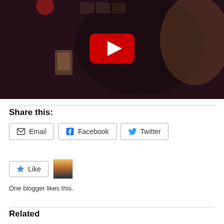[Figure (screenshot): YouTube video thumbnail showing a person drinking from a glass in a dark bar setting, with a red YouTube play button overlay in the center]
Share this:
Email | Facebook | Twitter (share buttons)
Like | One blogger likes this.
Related